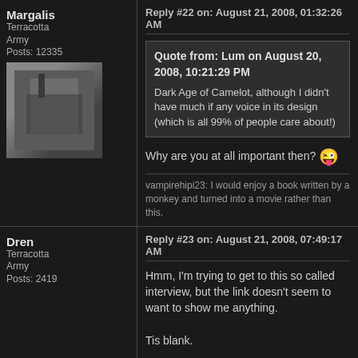Margalis
Terracotta Army
Posts: 12335
Reply #22 on: August 21, 2008, 01:32:26 AM
Quote from: Lum on August 20, 2008, 10:21:29 PM
Dark Age of Camelot, although I didn't have much if any voice in its design (which is all 99% of people care about!)
Why are you at all important then? 😜
vampirehipi23: I would enjoy a book written by a monkey and turned into a movie rather than this.
Dren
Terracotta Army
Posts: 2419
Reply #23 on: August 21, 2008, 07:49:17 AM
Hmm, I'm trying to get to this so called interview, but the link doesn't seem to want to show me anything.

Tis blank.
schild
Administrator
Posts: 60234
Reply #24 on: August 21, 2008, 07:50:26 AM
Shows up for me. It's not on the f13 page you know...